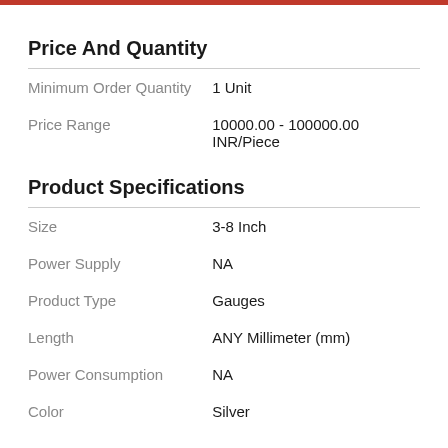Price And Quantity
|  |  |
| --- | --- |
| Minimum Order Quantity | 1 Unit |
| Price Range | 10000.00 - 100000.00 INR/Piece |
Product Specifications
|  |  |
| --- | --- |
| Size | 3-8 Inch |
| Power Supply | NA |
| Product Type | Gauges |
| Length | ANY Millimeter (mm) |
| Power Consumption | NA |
| Color | Silver |